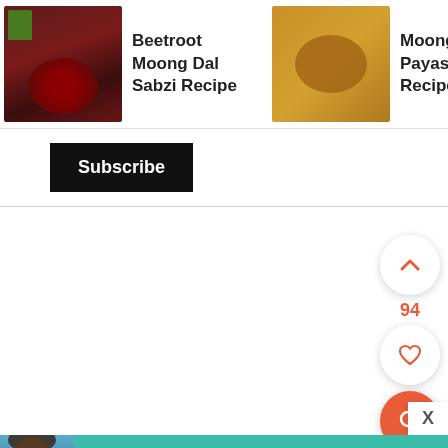[Figure (screenshot): Recipe card strip with three recipe thumbnails: Beetroot Moong Dal Sabzi Recipe, Moong Dal Payasam Recipe, Sweet Moong Dal Kozhukattas with arrow]
Beetroot Moong Dal Sabzi Recipe
Moong Dal Payasam Recipe
Sweet Moong Dal Kozhukattas >
Subscribe
[Figure (infographic): Floating UI buttons on right side: up chevron button, count 94, heart button, orange search button, X close]
94
[Figure (infographic): SHE Partner Network advertisement banner with woman photo, bullet points about earning site and social revenue and traffic growth, LEARN MORE button]